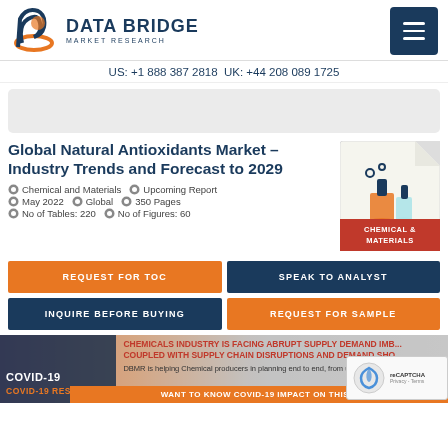[Figure (logo): Data Bridge Market Research logo with orange/navy 'b' icon and company name]
US: +1 888 387 2818 UK: +44 208 089 1725
[Figure (other): Gray advertisement banner placeholder]
Global Natural Antioxidants Market – Industry Trends and Forecast to 2029
Chemical and Materials   Upcoming Report
May 2022   Global   350 Pages
No of Tables: 220   No of Figures: 60
[Figure (illustration): Chemical & Materials report thumbnail with lab flask illustration]
REQUEST FOR TOC
SPEAK TO ANALYST
INQUIRE BEFORE BUYING
REQUEST FOR SAMPLE
CHEMICALS INDUSTRY IS FACING ABRUPT SUPPLY DEMAND IMBALANCES COUPLED WITH SUPPLY CHAIN DISRUPTIONS AND DEMAND SHOCKS
DBMR is helping Chemical producers in planning end to end, from understanding new...
COVID-19
COVID-19 RESOURCES
WANT TO KNOW COVID-19 IMPACT ON THIS...